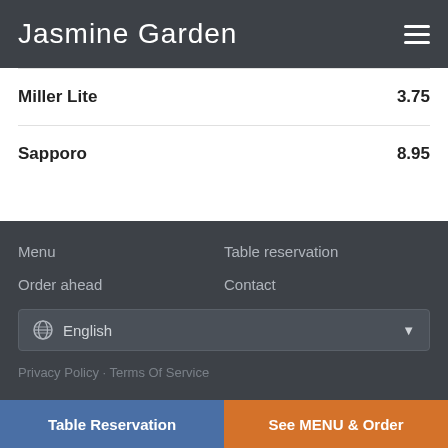Jasmine Garden
Miller Lite  3.75
Sapporo  8.95
Menu
Table reservation
Order ahead
Contact
English
Privacy Policy · Terms Of Service
Table Reservation  See MENU & Order